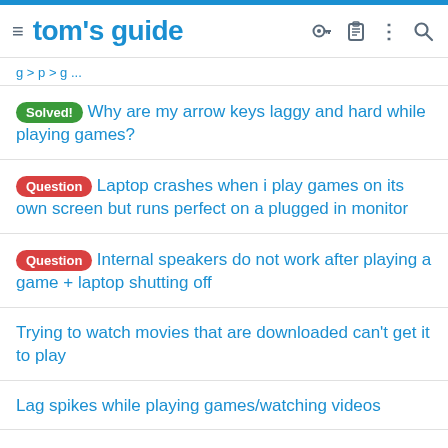tom's guide
g ... p ... g ...
Solved! Why are my arrow keys laggy and hard while playing games?
Question Laptop crashes when i play games on its own screen but runs perfect on a plugged in monitor
Question Internal speakers do not work after playing a game + laptop shutting off
Trying to watch movies that are downloaded can't get it to play
Lag spikes while playing games/watching videos